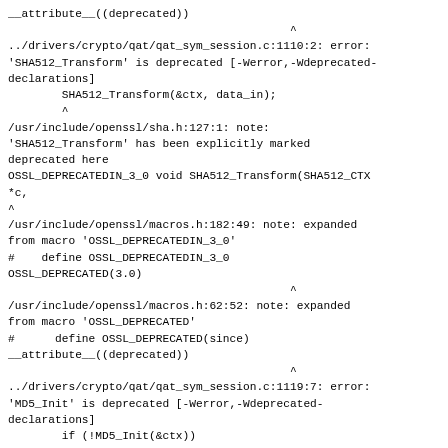__attribute__((deprecated))
                                          ^
../drivers/crypto/qat/qat_sym_session.c:1110:2: error:
'SHA512_Transform' is deprecated [-Werror,-Wdeprecated-declarations]
        SHA512_Transform(&ctx, data_in);
        ^
/usr/include/openssl/sha.h:127:1: note:
'SHA512_Transform' has been explicitly marked deprecated here
OSSL_DEPRECATEDIN_3_0 void SHA512_Transform(SHA512_CTX *c,
^
/usr/include/openssl/macros.h:182:49: note: expanded from macro 'OSSL_DEPRECATEDIN_3_0'
#    define OSSL_DEPRECATEDIN_3_0
OSSL_DEPRECATED(3.0)
                                          ^
/usr/include/openssl/macros.h:62:52: note: expanded from macro 'OSSL_DEPRECATED'
#      define OSSL_DEPRECATED(since)
__attribute__((deprecated))
                                          ^
../drivers/crypto/qat/qat_sym_session.c:1119:7: error:
'MD5_Init' is deprecated [-Werror,-Wdeprecated-declarations]
        if (!MD5_Init(&ctx))
             ^
/usr/include/openssl/md5.h:49:1: note: 'MD5_Init' has been explicitly marked deprecated here
OSSL_DEPRECATEDIN_3_0 int MD5_Init(MD5_CTX *c)